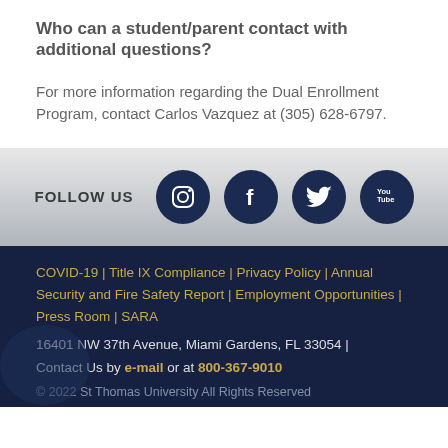Who can a student/parent contact with additional questions?
For more information regarding the Dual Enrollment Program, contact Carlos Vazquez at (305) 628-6797.
[Figure (infographic): FOLLOW US bar with Instagram, Facebook, Twitter, and YouTube social media icons as dark navy circles on a grey gradient background.]
COVID-19 | Title IX Compliance | Privacy Policy | Annual Security and Fire Safety Report | Employment Opportunities | Press Room | SARA
16401 NW 37th Avenue, Miami Gardens, FL 33054 | Contact Us by e-mail or at 800-367-9010
© 2022 St Thomas University All Rights Reserved